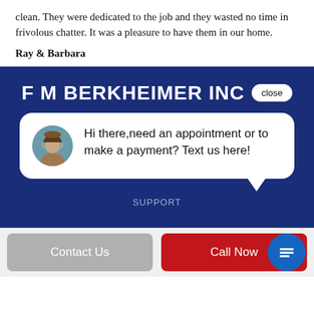clean. They were dedicated to the job and they wasted no time in frivolous chatter. It was a pleasure to have them in our home.
Ray & Barbara
[Figure (screenshot): F M Berkheimer Inc company banner with chat widget overlay showing a customer support representative avatar and message: 'Hi there, need an appointment or to make a payment? Text us here!' with a close button, SUPPORT label, Contact Us and Call Now buttons at the bottom.]